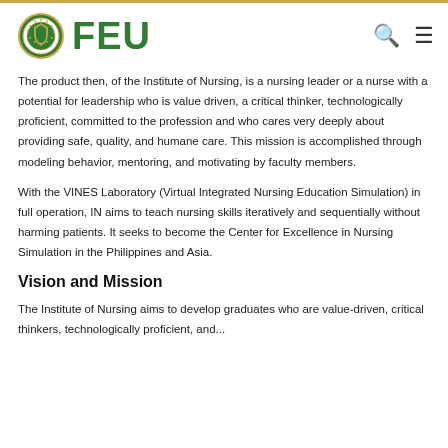FEU
The product then, of the Institute of Nursing, is a nursing leader or a nurse with a potential for leadership who is value driven, a critical thinker, technologically proficient, committed to the profession and who cares very deeply about providing safe, quality, and humane care. This mission is accomplished through modeling behavior, mentoring, and motivating by faculty members.
With the VINES Laboratory (Virtual Integrated Nursing Education Simulation) in full operation, IN aims to teach nursing skills iteratively and sequentially without harming patients. It seeks to become the Center for Excellence in Nursing Simulation in the Philippines and Asia.
Vision and Mission
The Institute of Nursing aims to develop graduates who are value-driven, critical thinkers, technologically proficient, and...